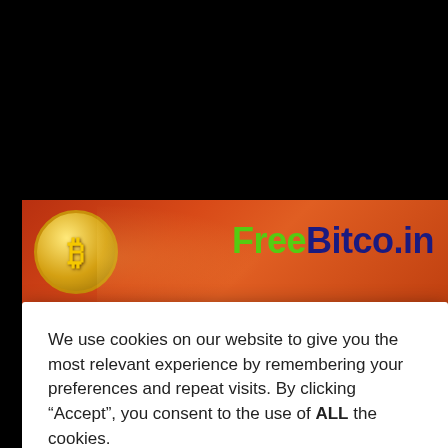[Figure (screenshot): FreeBitco.in website banner with orange/red gradient background, gold Bitcoin coin icon on left, and 'FreeBitco.in' text in green and dark blue on right]
We use cookies on our website to give you the most relevant experience by remembering your preferences and repeat visits. By clicking “Accept”, you consent to the use of ALL the cookies.
Cookie settings
ACCEPT
Cash twerks her booty
Like
0 views